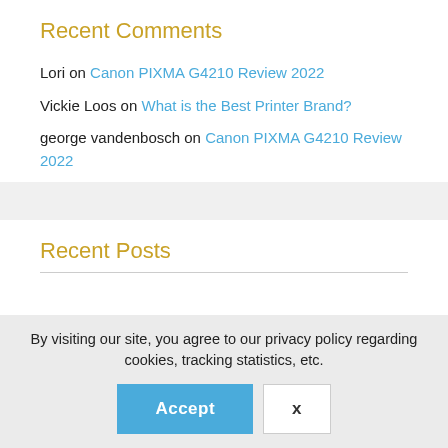Recent Comments
Lori on Canon PIXMA G4210 Review 2022
Vickie Loos on What is the Best Printer Brand?
george vandenbosch on Canon PIXMA G4210 Review 2022
Recent Posts
By visiting our site, you agree to our privacy policy regarding cookies, tracking statistics, etc.
Accept | X